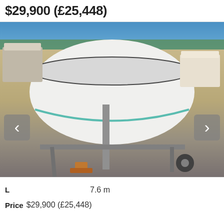$29,900 (£25,448)
[Figure (photo): White powerboat on a trailer in a marina/boat yard, rear view showing hull and trailer hitch, with other boats visible in background]
L	7.6 m
Price	$29,900 (£25,448)